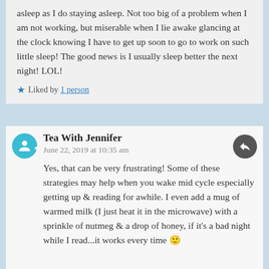asleep as I do staying asleep. Not too big of a problem when I am not working, but miserable when I lie awake glancing at the clock knowing I have to get up soon to go to work on such little sleep! The good news is I usually sleep better the next night! LOL!
★ Liked by 1 person
Tea With Jennifer
June 22, 2019 at 10:35 am
Yes, that can be very frustrating! Some of these strategies may help when you wake mid cycle especially getting up & reading for awhile. I even add a mug of warmed milk (I just heat it in the microwave) with a sprinkle of nutmeg & a drop of honey, if it's a bad night while I read...it works every time 🙂